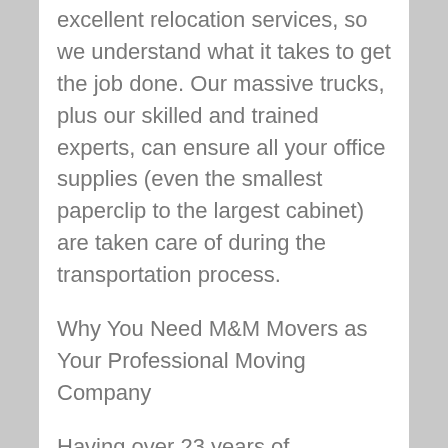excellent relocation services, so we understand what it takes to get the job done. Our massive trucks, plus our skilled and trained experts, can ensure all your office supplies (even the smallest paperclip to the largest cabinet) are taken care of during the transportation process.
Why You Need M&M Movers as Your Professional Moving Company
Having over 23 years of experience in the moving industry has definitively proven that there is no moving job that we cannot master.